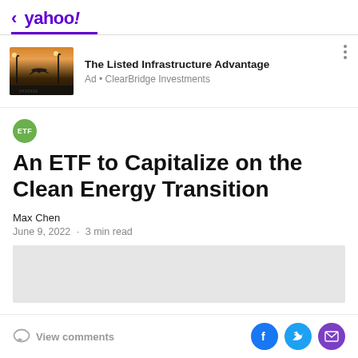< yahoo!
[Figure (photo): Airport runway at dusk with plane landing and lamp posts silhouetted against orange/purple sky. Advertisement for The Listed Infrastructure Advantage by ClearBridge Investments.]
The Listed Infrastructure Advantage
Ad • ClearBridge Investments
[Figure (logo): Green circular ETF badge/label]
An ETF to Capitalize on the Clean Energy Transition
Max Chen
June 9, 2022 · 3 min read
[Figure (photo): Gray image placeholder rectangle]
View comments